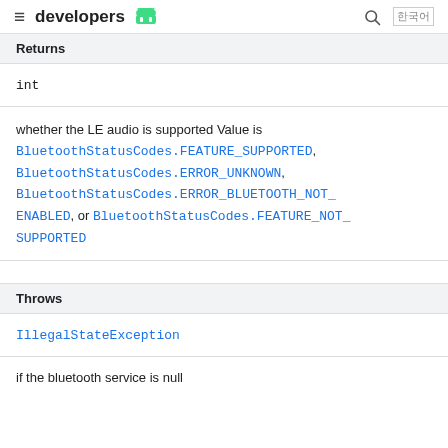developers
Returns
int
whether the LE audio is supported Value is BluetoothStatusCodes.FEATURE_SUPPORTED, BluetoothStatusCodes.ERROR_UNKNOWN, BluetoothStatusCodes.ERROR_BLUETOOTH_NOT_ENABLED, or BluetoothStatusCodes.FEATURE_NOT_SUPPORTED
Throws
IllegalStateException
if the bluetooth service is null